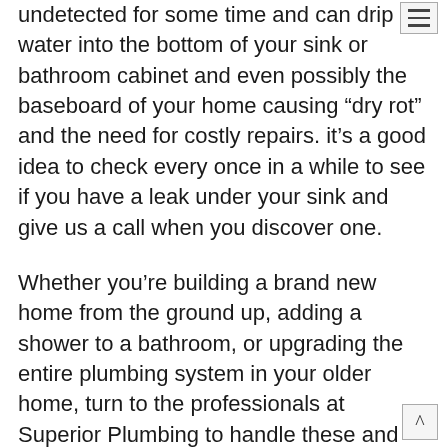This is often a more serious leak because it can undetected for some time and can drip water into the bottom of your sink or bathroom cabinet and even possibly the baseboard of your home causing “dry rot” and the need for costly repairs. it’s a good idea to check every once in a while to see if you have a leak under your sink and give us a call when you discover one.
Whether you’re building a brand new home from the ground up, adding a shower to a bathroom, or upgrading the entire plumbing system in your older home, turn to the professionals at Superior Plumbing to handle these and many other plumbing projects. Superior Plumbing offers maintenance services that will keep your